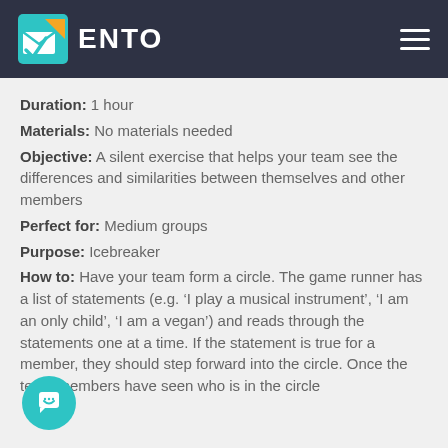ENTO
Duration: 1 hour
Materials: No materials needed
Objective: A silent exercise that helps your team see the differences and similarities between themselves and other members
Perfect for: Medium groups
Purpose: Icebreaker
How to: Have your team form a circle. The game runner has a list of statements (e.g. ‘I play a musical instrument’, ‘I am an only child’, ‘I am a vegan’) and reads through the statements one at a time. If the statement is true for a member, they should step forward into the circle. Once the team members have seen who is in the circle